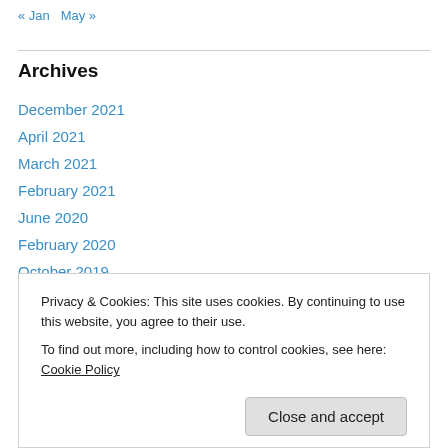« Jan   May »
Archives
December 2021
April 2021
March 2021
February 2021
June 2020
February 2020
October 2019
September 2019
June 2019
April 2018
Privacy & Cookies: This site uses cookies. By continuing to use this website, you agree to their use.
To find out more, including how to control cookies, see here: Cookie Policy